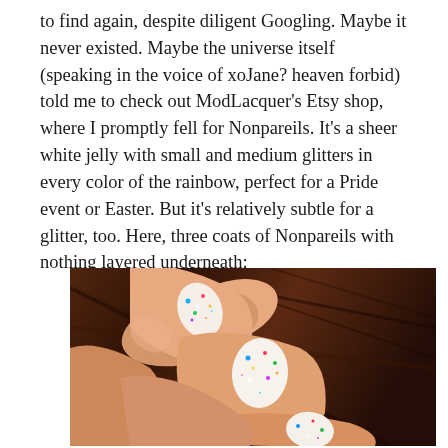to find again, despite diligent Googling. Maybe it never existed. Maybe the universe itself (speaking in the voice of xoJane? heaven forbid) told me to check out ModLacquer's Etsy shop, where I promptly fell for Nonpareils. It's a sheer white jelly with small and medium glitters in every color of the rainbow, perfect for a Pride event or Easter. But it's relatively subtle for a glitter, too. Here, three coats of Nonpareils with nothing layered underneath:
[Figure (photo): Close-up photo of fingers showing nails painted with a sheer white glitter nail polish (Nonpareils) featuring small and medium multicolored glitter pieces in rainbow colors against a dark wood background.]